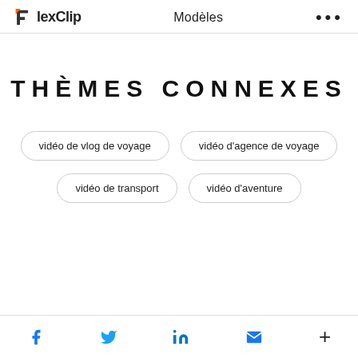FlexClip  Modèles  •••
THÈMES CONNEXES
vidéo de vlog de voyage
vidéo d'agence de voyage
vidéo de transport
vidéo d'aventure
f  Twitter  in  mail  +